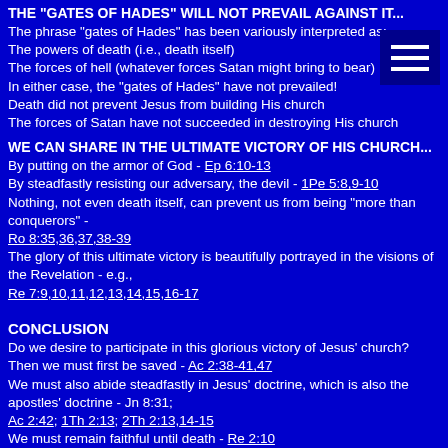THE "GATES OF HADES" WILL NOT PREVAIL AGAINST IT...
The phrase "gates of Hades" has been variously interpreted as:
The powers of death (i.e., death itself)
The forces of hell (whatever forces Satan might bring to bear)
In either case, the "gates of Hades" have not prevailed!
Death did not prevent Jesus from building His church
The forces of Satan have not succeeded in destroying His church
WE CAN SHARE IN THE ULTIMATE VICTORY OF HIS CHURCH...
By putting on the armor of God - Ep 6:10-13
By steadfastly resisting our adversary, the devil - 1Pe 5:8,9-10
Nothing, not even death itself, can prevent us from being "more than conquerors" - Ro 8:35,36,37,38-39
The glory of this ultimate victory is beautifully portrayed in the visions of the Revelation - e.g., Re 7:9,10,11,12,13,14,15,16-17
CONCLUSION
Do we desire to participate in this glorious victory of Jesus' church?
Then we must first be saved - Ac 2:38-41,47
We must also abide steadfastly in Jesus' doctrine, which is also the apostles' doctrine - Jn 8:31; Ac 2:42; 1Th 2:13; 2Th 2:13,14-15
We must remain faithful until death - Re 2:10
Through God's grace and our faithful obedience, we can be privileged to be a part of that church...
Which Jesus built upon a rock...